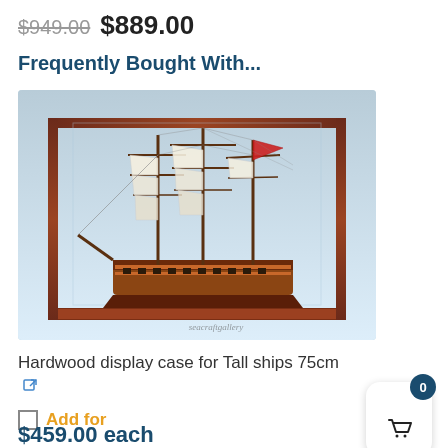$949.00 $889.00
Frequently Bought With...
[Figure (photo): A detailed wooden tall ship model inside a hardwood display case with glass panels, shown against a light blue background. Watermark reads 'seacraftgallery'.]
Hardwood display case for Tall ships 75cm
Add for
$459.00 each